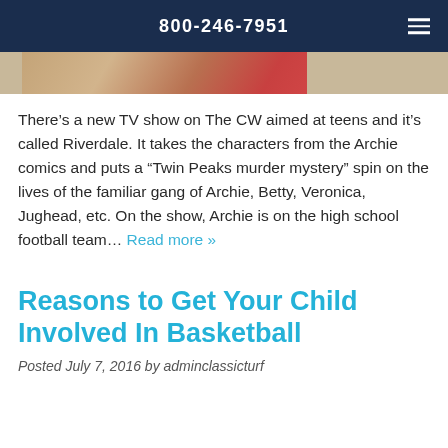800-246-7951
[Figure (photo): Partial image strip showing cropped photo of people, appears to be colorful/red tones]
There’s a new TV show on The CW aimed at teens and it’s called Riverdale. It takes the characters from the Archie comics and puts a “Twin Peaks murder mystery” spin on the lives of the familiar gang of Archie, Betty, Veronica, Jughead, etc. On the show, Archie is on the high school football team… Read more »
Reasons to Get Your Child Involved In Basketball
Posted July 7, 2016 by adminclassicturf